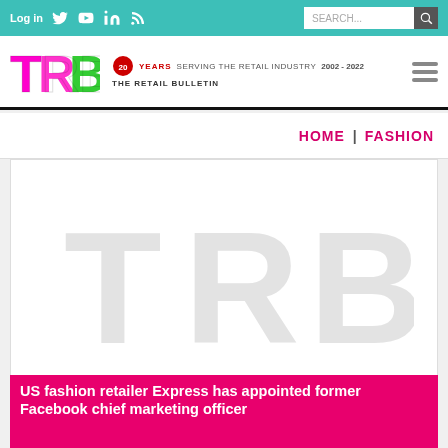Log in | Twitter | YouTube | LinkedIn | RSS | SEARCH...
[Figure (logo): The Retail Bulletin (TRB) logo with colorful letters T, R, B and tagline '20 YEARS SERVING THE RETAIL INDUSTRY 2002-2022']
HOME | FASHION
[Figure (photo): TRB watermark placeholder image with large grey TRB letters on white background]
US fashion retailer Express has appointed former Facebook chief marketing officer